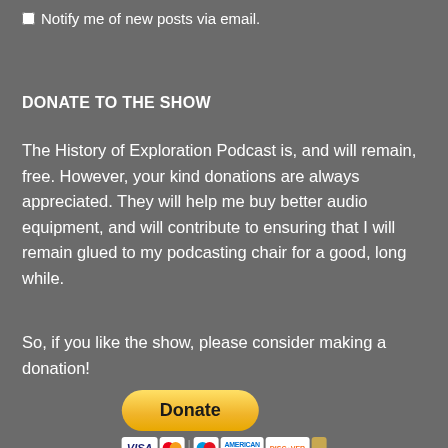Notify me of new posts via email.
DONATE TO THE SHOW
The History of Exploration Podcast is, and will remain, free. However, your kind donations are always appreciated. They will help me buy better audio equipment, and will contribute to ensuring that I will remain glued to my podcasting chair for a good, long while.
So, if you like the show, please consider making a donation!
[Figure (other): PayPal Donate button with accepted payment card logos (Visa, Mastercard, Maestro, American Express, Discover, and one additional card)]